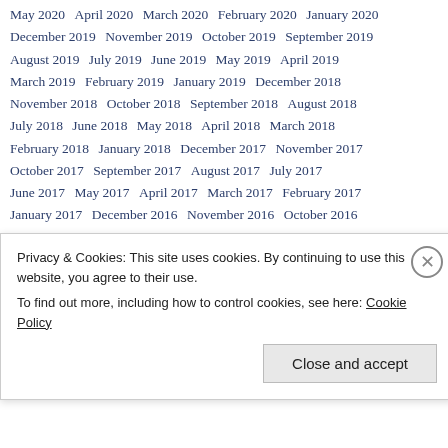May 2020   April 2020   March 2020   February 2020   January 2020
December 2019   November 2019   October 2019   September 2019
August 2019   July 2019   June 2019   May 2019   April 2019
March 2019   February 2019   January 2019   December 2018
November 2018   October 2018   September 2018   August 2018
July 2018   June 2018   May 2018   April 2018   March 2018
February 2018   January 2018   December 2017   November 2017
October 2017   September 2017   August 2017   July 2017
June 2017   May 2017   April 2017   March 2017   February 2017
January 2017   December 2016   November 2016   October 2016
September 2016   August 2016   July 2016   June 2016   May 2016
April 2016   March 2016   February 2016   January 2016
December 2015   November 2015   October 2015
Privacy & Cookies: This site uses cookies. By continuing to use this website, you agree to their use. To find out more, including how to control cookies, see here: Cookie Policy